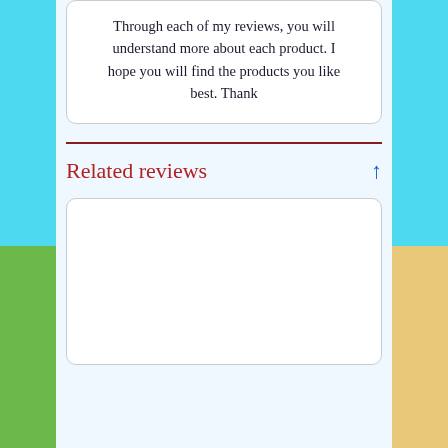Through each of my reviews, you will understand more about each product. I hope you will find the products you like best. Thank
Related reviews